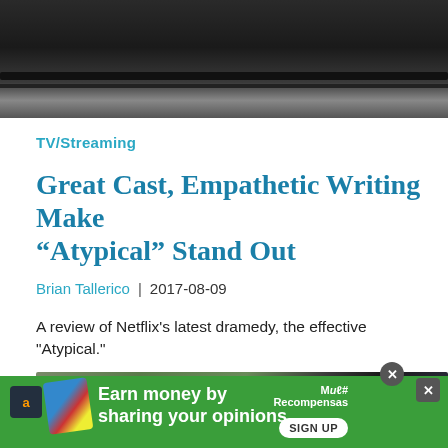[Figure (photo): Dark overhead/interior car shot showing black roll bar or frame elements against a dark background]
TV/Streaming
Great Cast, Empathetic Writing Make “Atypical” Stand Out
Brian Tallerico  |  2017-08-09
A review of Netflix’s latest dramedy, the effective "Atypical."
[Figure (photo): Outdoor scene with a person with blond hair and purple clothing near a vehicle roll bar, green foliage in background]
[Figure (photo): Advertisement banner: green background, Amazon icon, hand with cards graphic, text: Earn money by sharing your opinions, MyPoints/Swagbucks logo, SIGN UP button]